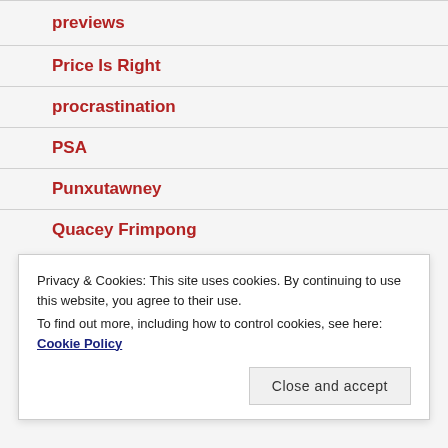previews
Price Is Right
procrastination
PSA
Punxutawney
Quacey Frimpong
Privacy & Cookies: This site uses cookies. By continuing to use this website, you agree to their use.
To find out more, including how to control cookies, see here: Cookie Policy
R2 D2